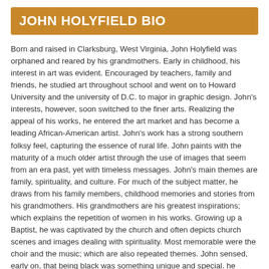JOHN HOLYFIELD BIO
Born and raised in Clarksburg, West Virginia, John Holyfield was orphaned and reared by his grandmothers. Early in childhood, his interest in art was evident. Encouraged by teachers, family and friends, he studied art throughout school and went on to Howard University and the university of D.C. to major in graphic design. John's interests, however, soon switched to the finer arts. Realizing the appeal of his works, he entered the art market and has become a leading African-American artist. John's work has a strong southern folksy feel, capturing the essence of rural life. John paints with the maturity of a much older artist through the use of images that seem from an era past, yet with timeless messages. John's main themes are family, spirituality, and culture. For much of the subject matter, he draws from his family members, childhood memories and stories from his grandmothers. His grandmothers are his greatest inspirations; which explains the repetition of women in his works. Growing up a Baptist, he was captivated by the church and often depicts church scenes and images dealing with spirituality. Most memorable were the choir and the music; which are also repeated themes. John sensed, early on, that being black was something unique and special. he noticed that aspects such as music, spirituality, heritage, ways and traditions set his race apart from others. and he felt compelled to capture this experience, visually, on canvas. Such artists as Ernie Barnes, Norman Rockwell, and Frederic Leighton inspire John's style. Like Barnes, his compositions are full fo movement and his characters elongated and